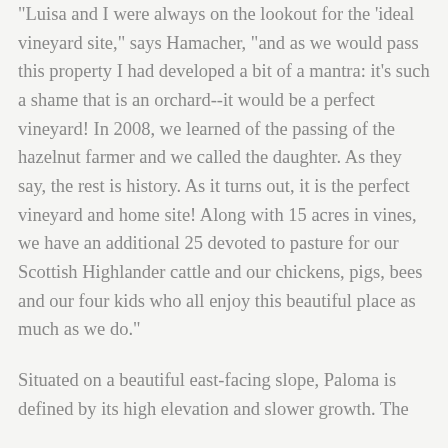“Luisa and I were always on the lookout for the ‘ideal vineyard site,” says Hamacher, “and as we would pass this property I had developed a bit of a mantra: it’s such a shame that is an orchard--it would be a perfect vineyard! In 2008, we learned of the passing of the hazelnut farmer and we called the daughter. As they say, the rest is history. As it turns out, it is the perfect vineyard and home site! Along with 15 acres in vines, we have an additional 25 devoted to pasture for our Scottish Highlander cattle and our chickens, pigs, bees and our four kids who all enjoy this beautiful place as much as we do.”
Situated on a beautiful east-facing slope, Paloma is defined by its high elevation and slower growth.  The